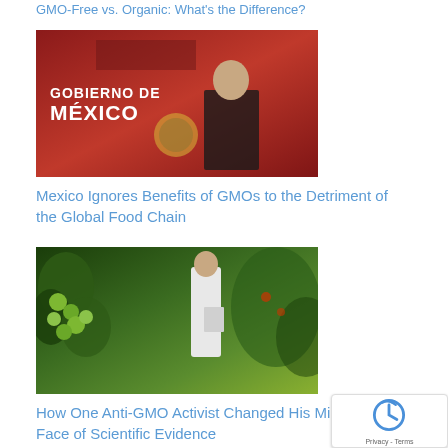GMO-Free vs. Organic: What's the Difference?
[Figure (photo): Man speaking at a podium with 'GOBIERNO DE MÉXICO' text on a red background]
Mexico Ignores Benefits of GMOs to the Detriment of the Global Food Chain
[Figure (photo): Researcher in white coat inspecting green tomato plants in a greenhouse]
How One Anti-GMO Activist Changed His Mind in the Face of Scientific Evidence